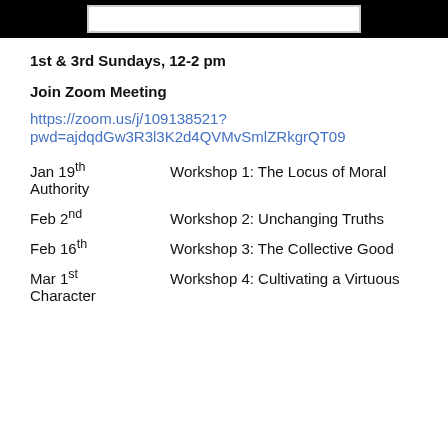[Figure (other): Black banner bar at top of page with white rectangular box inside]
1st & 3rd Sundays, 12-2 pm
Join Zoom Meeting
https://zoom.us/j/109138521?pwd=ajdqdGw3R3l3K2d4QVMvSmlZRkgrQT09
Jan 19th   Workshop 1: The Locus of Moral Authority
Feb 2nd   Workshop 2: Unchanging Truths
Feb 16th   Workshop 3: The Collective Good
Mar 1st   Workshop 4: Cultivating a Virtuous Character